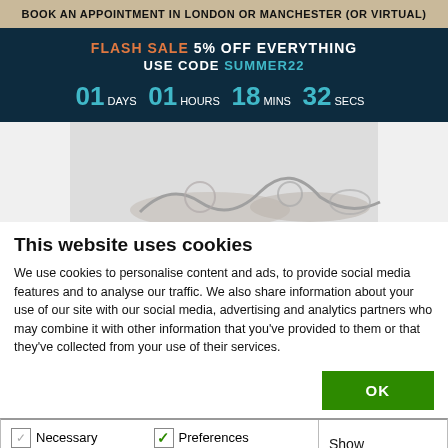BOOK AN APPOINTMENT IN LONDON OR MANCHESTER (OR VIRTUAL)
FLASH SALE 5% OFF EVERYTHING USE CODE SUMMER22 01 DAYS 01 HOURS 18 MINS 32 SECS
[Figure (photo): Jewellery items (rings/chains) on a light background]
This website uses cookies
We use cookies to personalise content and ads, to provide social media features and to analyse our traffic. We also share information about your use of our site with our social media, advertising and analytics partners who may combine it with other information that you've provided to them or that they've collected from your use of their services.
OK
Necessary  Preferences  Statistics  Marketing  Show details